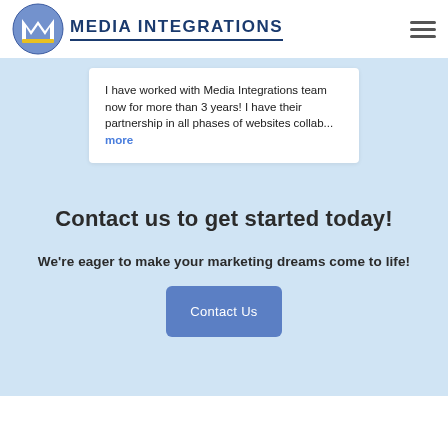[Figure (logo): Media Integrations logo with blue and yellow M icon and company name]
I have worked with Media Integrations team now for more than 3 years! I have their partnership in all phases of websites collab... more
Contact us to get started today!
We're eager to make your marketing dreams come to life!
Contact Us